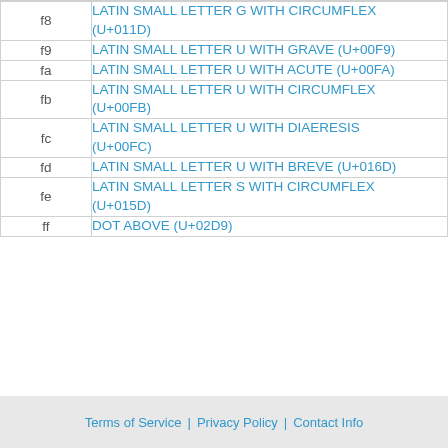|  |  |
| --- | --- |
| f8 | LATIN SMALL LETTER G WITH CIRCUMFLEX (U+011D) |
| f9 | LATIN SMALL LETTER U WITH GRAVE (U+00F9) |
| fa | LATIN SMALL LETTER U WITH ACUTE (U+00FA) |
| fb | LATIN SMALL LETTER U WITH CIRCUMFLEX (U+00FB) |
| fc | LATIN SMALL LETTER U WITH DIAERESIS (U+00FC) |
| fd | LATIN SMALL LETTER U WITH BREVE (U+016D) |
| fe | LATIN SMALL LETTER S WITH CIRCUMFLEX (U+015D) |
| ff | DOT ABOVE (U+02D9) |
Terms of Service | Privacy Policy | Contact Info